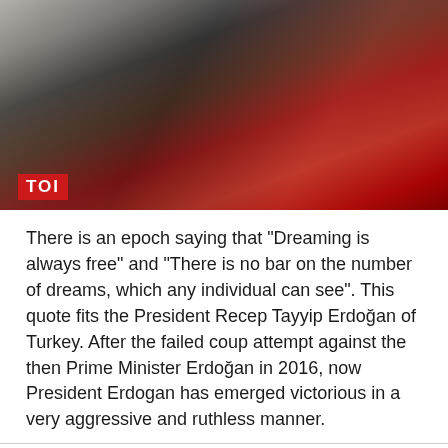[Figure (photo): Two men in formal attire seated at a table with floral arrangement and red flags in background. TOI logo visible at bottom left of image.]
There is an epoch saying that “Dreaming is always free” and “There is no bar on the number of dreams, which any individual can see”. This quote fits the President Recep Tayyip Erdoğan of Turkey. After the failed coup attempt against the then Prime Minister Erdoğan in 2016, now President Erdogan has emerged victorious in a very aggressive and ruthless manner.
This website uses cookies to improve your experience. We'll assume you're ok with this, but you can opt-out if you wish.
Cookie settings
ACCEPT